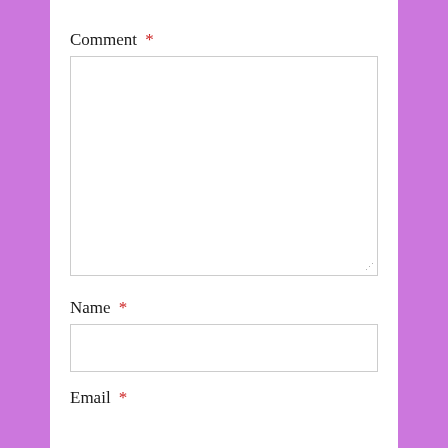Comment *
[Figure (screenshot): Empty textarea input field for comment]
Name *
[Figure (screenshot): Empty single-line text input field for name]
Email *